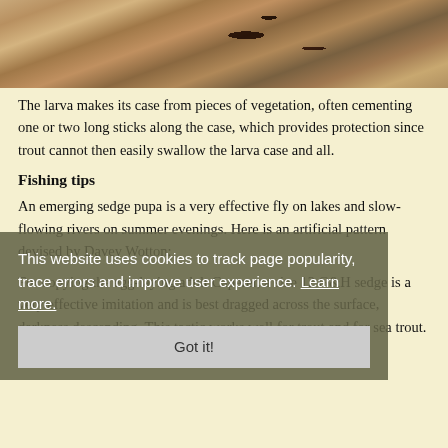[Figure (photo): Close-up photograph of larva case made from pieces of vegetation, sandy/rocky texture with dark organic material]
The larva makes its case from pieces of vegetation, often cementing one or two long sticks along the case, which provides protection since trout cannot then easily swallow the larva case and all.
Fishing tips
An emerging sedge pupa is a very effective fly on lakes and slow-flowing rivers on summer evenings. Here is an artificial pattern devised by Davey Wotton:
For copying the egg-laying adult Caperer, a size 12 G&H sedge is a very effective imitation and is best dragged across the surface, darkness descending. This tactic works well for trout and for sea trout.
This website uses cookies to track page popularity, trace errors and improve user experience. Learn more.
References
O'Reilly, Pat. (1997; 8th reprint 2010) Matching the Hatch. Shrewsbury: Quiller Publishing.